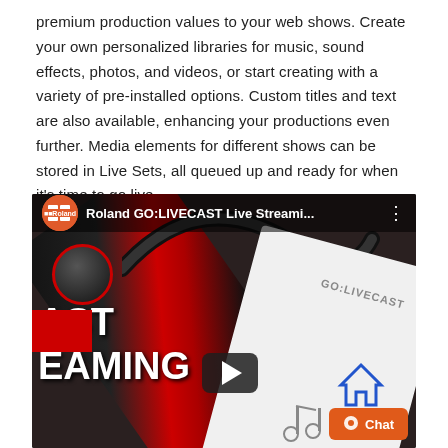premium production values to your web shows. Create your own personalized libraries for music, sound effects, photos, and videos, or start creating with a variety of pre-installed options. Custom titles and text are also available, enhancing your productions even further. Media elements for different shows can be stored in Live Sets, all queued up and ready for when it's time to go live.
[Figure (screenshot): YouTube embedded video thumbnail showing Roland GO:LIVECAST Live Streaming mixer device with cables, a red stripe and knob visible, white product card in background, large white text 'CAST' and 'EAMING' overlaid, YouTube play button in center, Chat button in bottom right corner]